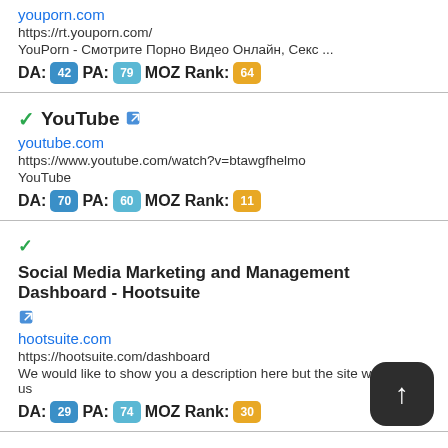youporn.com | https://rt.youporn.com/ | YouPorn - Смотрите Порно Видео Онлайн, Секс ... | DA: 42 PA: 79 MOZ Rank: 64
YouTube ✓ | youtube.com | https://www.youtube.com/watch?v=btawgfhelmo | YouTube | DA: 70 PA: 60 MOZ Rank: 11
Social Media Marketing and Management Dashboard - Hootsuite ✓ | hootsuite.com | https://hootsuite.com/dashboard | We would like to show you a description here but the site won't allow us | DA: 29 PA: 74 MOZ Rank: 30